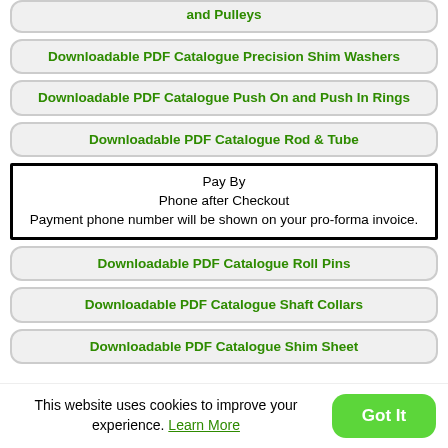and Pulleys
Downloadable PDF Catalogue Precision Shim Washers
Downloadable PDF Catalogue Push On and Push In Rings
Downloadable PDF Catalogue Rod & Tube
Pay By Phone after Checkout
Payment phone number will be shown on your pro-forma invoice.
Downloadable PDF Catalogue Roll Pins
Downloadable PDF Catalogue Shaft Collars
Downloadable PDF Catalogue Shim Sheet
This website uses cookies to improve your experience. Learn More
Got It